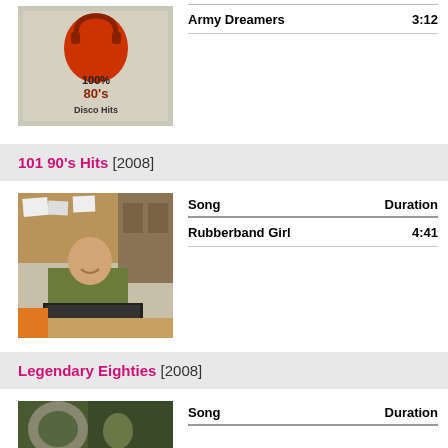[Figure (photo): Album cover showing a red stylized human head with headphones, text reads 100% 80's Disco Hits]
| Song | Duration |
| --- | --- |
| Army Dreamers | 3:12 |
101 90's Hits [2008]
[Figure (photo): Photo of a bald soldier in camouflage uniform sitting at a desk with a keyboard]
| Song | Duration |
| --- | --- |
| Rubberband Girl | 4:41 |
Legendary Eighties [2008]
[Figure (photo): Partial photo at bottom of page]
| Song | Duration |
| --- | --- |